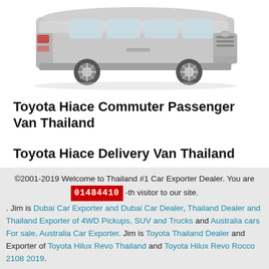[Figure (photo): Toyota Hiace silver van, side/front view on white background]
Toyota Hiace Commuter Passenger Van Thailand
Toyota Hiace Delivery Van Thailand
©2001-2019 Welcome to Thailand #1 Car Exporter Dealer. You are 01484410 -th visitor to our site. Jim is Dubai Car Exporter and Dubai Car Dealer, Thailand Dealer and Thailand Exporter of 4WD Pickups, SUV and Trucks and Australia cars For sale, Australia Car Exporter. Jim is Toyota Thailand Dealer and Exporter of Toyota Hilux Revo Thailand and Toyota Hilux Revo Rocco 2108 2019.